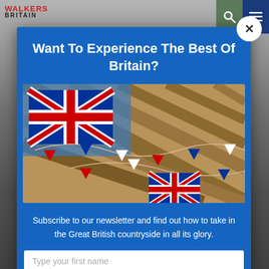Walkers Britain
Want To Experience The Best Of Britain?
[Figure (photo): Union Jack flags and red, white and blue bunting hanging from wooden beams, celebrating British heritage in an indoor market or hall setting.]
Subscribe to our newsletter and find out how to take in the Great British countryside in all its glory.
Type your first name